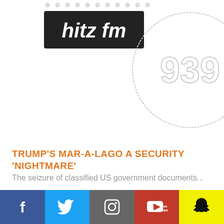[Figure (logo): Hitz FM 939 radio station logo — black rectangle with 'hitz fm' text in white italic font, alongside a circular outline with '939' text]
TRUMP'S MAR-A-LAGO A SECURITY 'NIGHTMARE'
The seizure of classified US government documents...
[Figure (logo): Partial circle logo at bottom of page, same as Hitz FM 939 logo]
Social media icons: Facebook, Twitter, Instagram, YouTube, Snapchat